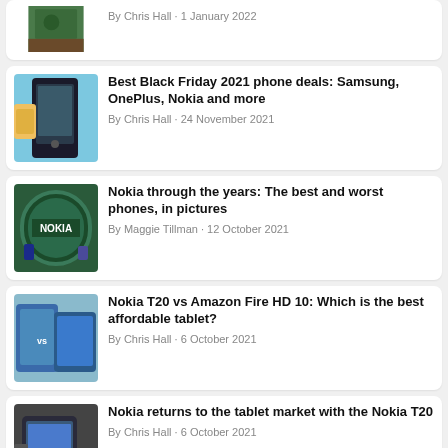[Figure (photo): Partial article card with thumbnail image, cropped at top]
By Chris Hall · 1 January 2022
[Figure (photo): Samsung phone against blue background]
Best Black Friday 2021 phone deals: Samsung, OnePlus, Nokia and more
By Chris Hall · 24 November 2021
[Figure (photo): Nokia logo sign]
Nokia through the years: The best and worst phones, in pictures
By Maggie Tillman · 12 October 2021
[Figure (photo): Nokia T20 vs Amazon Fire HD 10 tablets side by side]
Nokia T20 vs Amazon Fire HD 10: Which is the best affordable tablet?
By Chris Hall · 6 October 2021
[Figure (photo): Nokia T20 tablet on surface]
Nokia returns to the tablet market with the Nokia T20
By Chris Hall · 6 October 2021